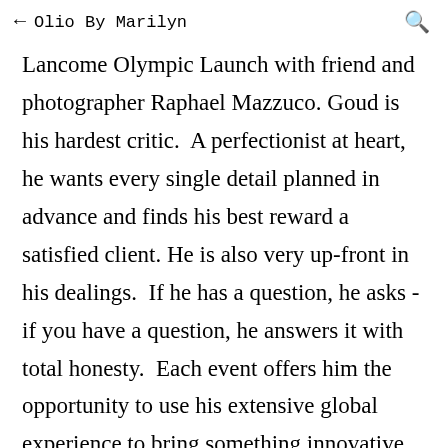← Olio By Marilyn 🔍
Lancome Olympic Launch with friend and photographer Raphael Mazzuco. Goud is his hardest critic.  A perfectionist at heart, he wants every single detail planned in advance and finds his best reward a satisfied client. He is also very up-front in his dealings.  If he has a question, he asks - if you have a question, he answers it with total honesty.  Each event offers him the opportunity to use his extensive global experience to bring something innovative to the Vancouver scene.  "I love conceptualizing and visualizing events.  I love seeing what I can come